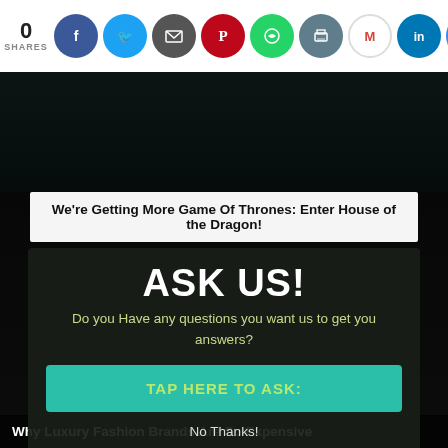0 SHARES
[Figure (screenshot): Social sharing icons bar with Facebook, Twitter, email, Pinterest, WhatsApp, print, Gmail, LinkedIn, Google icons]
[Figure (photo): Dark fashion background image showing luxury Louis Vuitton fabric/clothing]
We're Getting More Game Of Thrones: Enter House of the Dragon!
ASK US!
Do you Have any questions you want us to get you answers?
TAP HERE TO ASK:
No Thanks!
Why Luxury Fashion Brands Are So Expensive